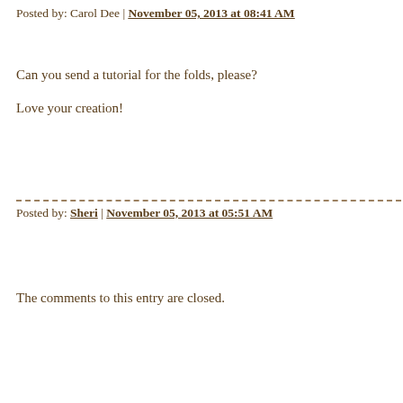Posted by: Carol Dee | November 05, 2013 at 08:41 AM
Can you send a tutorial for the folds, please?

Love your creation!
Posted by: Sheri | November 05, 2013 at 05:51 AM
The comments to this entry are closed.